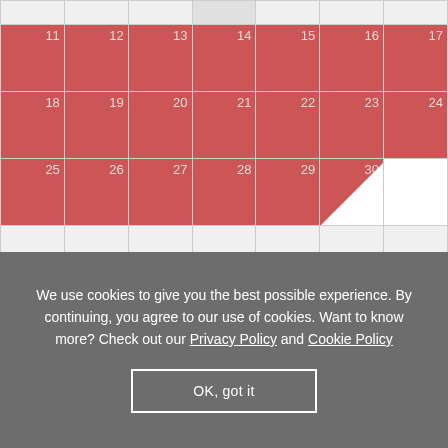[Figure (other): Partial calendar view showing weeks with dates 11-30. Dates 11-29 highlighted in red/pink. Days 30 onward shown in white with a page-turn triangle effect. Bottom rows are empty light gray cells.]
We use cookies to give you the best possible experience. By continuing, you agree to our use of cookies. Want to know more? Check out our Privacy Policy and Cookie Policy
OK, got it